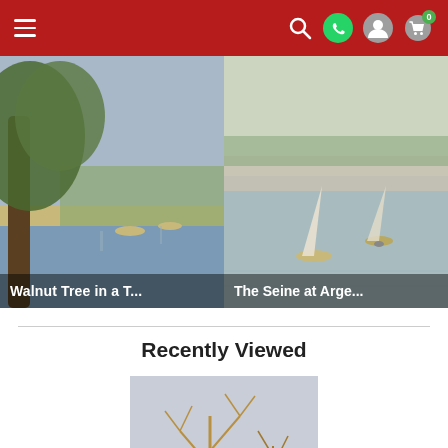Navigation bar with hamburger menu, search, WhatsApp, user, and cart (0) icons
[Figure (photo): Impressionist painting: Walnut Tree in a T... - landscape with large tree and water scene]
[Figure (photo): Impressionist painting: The Seine at Arge... - river scene with sailboats]
Recently Viewed
[Figure (photo): Impressionist painting: Le Loing-gelee Bl... - winter river scene with bare trees]